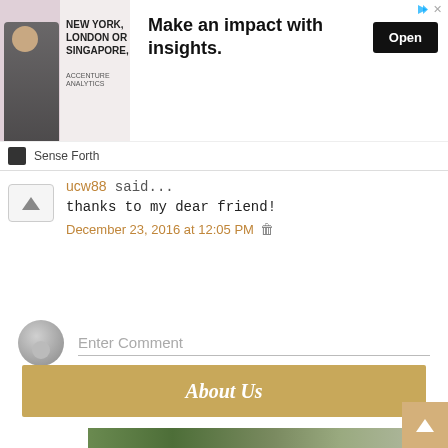[Figure (other): Advertisement banner: image of man in suit with text 'NEW YORK, LONDON OR SINGAPORE.' and headline 'Make an impact with insights.' with an Open button. Brand: Sense Forth.]
ucw88 said...
thanks to my dear friend!
December 23, 2016 at 12:05 PM 🗑
Enter Comment
About Us
[Figure (photo): Partial photo of tropical palm trees and green foliage at bottom of page.]